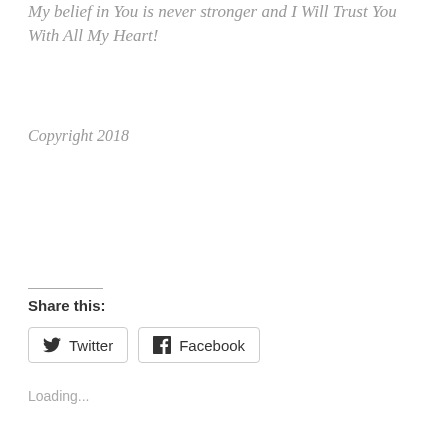My belief in You is never stronger and I Will Trust You With All My Heart!
Copyright 2018
Share this:
Twitter
Facebook
Loading...